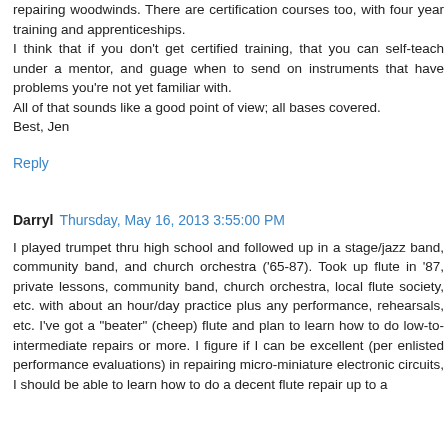repairing woodwinds. There are certification courses too, with four year training and apprenticeships.
I think that if you don't get certified training, that you can self-teach under a mentor, and guage when to send on instruments that have problems you're not yet familiar with.
All of that sounds like a good point of view; all bases covered.
Best, Jen
Reply
Darryl  Thursday, May 16, 2013 3:55:00 PM
I played trumpet thru high school and followed up in a stage/jazz band, community band, and church orchestra ('65-87). Took up flute in '87, private lessons, community band, church orchestra, local flute society, etc. with about an hour/day practice plus any performance, rehearsals, etc. I've got a "beater" (cheep) flute and plan to learn how to do low-to-intermediate repairs or more. I figure if I can be excellent (per enlisted performance evaluations) in repairing micro-miniature electronic circuits, I should be able to learn how to do a decent flute repair up to a